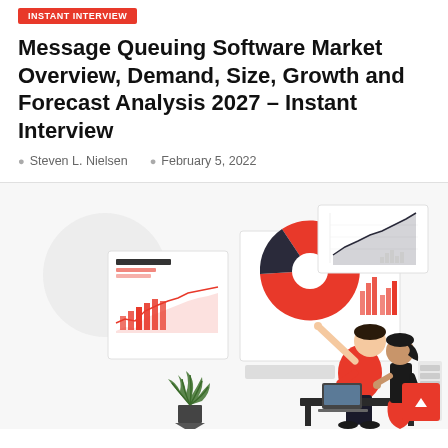Instant Interview (category badge)
Message Queuing Software Market Overview, Demand, Size, Growth and Forecast Analysis 2027 – Instant Interview
Steven L. Nielsen   February 5, 2022
[Figure (illustration): Flat-style illustration of two business people analyzing data dashboards and charts (bar chart, pie chart, line chart) on presentation boards, with a laptop on a desk, a potted plant, and filing cabinet in background. Red and black color scheme.]